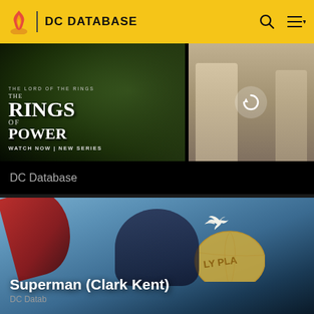DC Database
[Figure (screenshot): Advertisement banner for 'The Lord of the Rings: The Rings of Power' series showing characters and text 'WATCH NOW | NEW SERIES' on the left, and a second image with a reload/refresh icon overlay on the right]
DC Database
[Figure (illustration): DC Comics illustration of Superman (Clark Kent) in his iconic costume, smiling, with a Daily Planet globe and a white dove in the background against a blue sky]
Superman (Clark Kent)